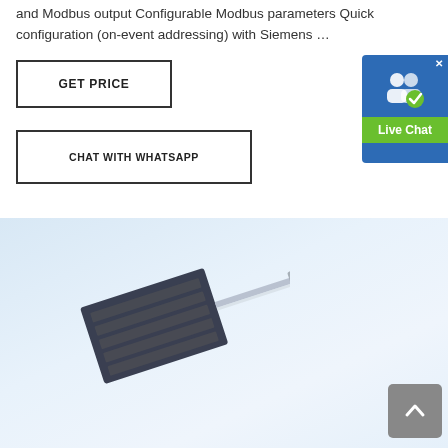and Modbus output Configurable Modbus parameters Quick configuration (on-event addressing) with Siemens …
[Figure (screenshot): GET PRICE button — rectangular bordered button with bold text]
[Figure (screenshot): Live Chat badge widget — blue and green badge with user icon and Live Chat label]
[Figure (screenshot): CHAT WITH WHATSAPP button — rectangular bordered button with bold text]
[Figure (photo): Product photo of a small electronic sensor/chip component on a light blue background, angled view showing a PCB-style flat chip with metal leads]
[Figure (screenshot): Scroll-to-top button — grey square button with upward chevron arrow]